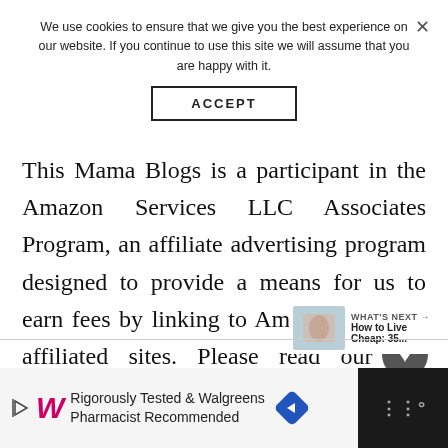We use cookies to ensure that we give you the best experience on our website. If you continue to use this site we will assume that you are happy with it.
ACCEPT
This Mama Blogs is a participant in the Amazon Services LLC Associates Program, an affiliate advertising program designed to provide a means for us to earn fees by linking to Amazon.com and affiliated sites. Please read our full Disclosure for more information.
[Figure (infographic): Social sharing widget with heart/like button showing 14 likes and a share button]
[Figure (infographic): What's Next widget showing a thumbnail and text 'How to Live Cheap: 35...']
[Figure (infographic): Advertisement banner: Rigorously Tested & Walgreens Pharmacist Recommended with Walgreens logo and blue diamond navigation icon]